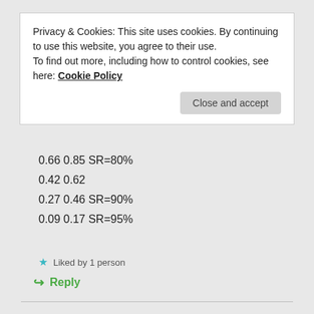Privacy & Cookies: This site uses cookies. By continuing to use this website, you agree to their use.
To find out more, including how to control cookies, see here: Cookie Policy
Close and accept
0.66 0.85 SR=80%
0.42 0.62
0.27 0.46 SR=90%
0.09 0.17 SR=95%
Liked by 1 person
↳ Reply
CFIRE
November 1, 2017 at 10:40 am